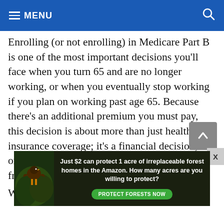MENU
Enrolling (or not enrolling) in Medicare Part B is one of the most important decisions you'll face when you turn 65 and are no longer working, or when you eventually stop working if you plan on working past age 65. Because there's an additional premium you must pay, this decision is about more than just health insurance coverage; it's a financial decision, and one that we receive the most questions about from federal employees and retirees each year.
We'll walk you through reasons to enroll in Part B
[Figure (infographic): Advertisement banner: 'Just $2 can protect 1 acre of irreplaceable forest homes in the Amazon. How many acres are you willing to protect?' with a green PROTECT FORESTS NOW button and a photo of a bird]